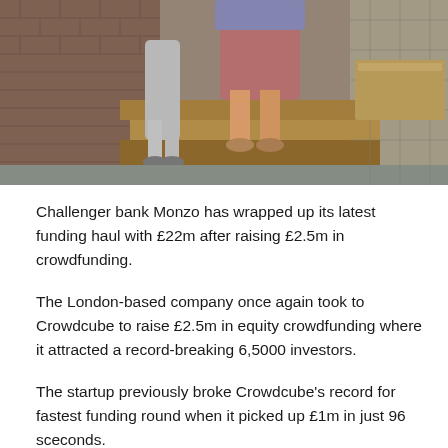[Figure (photo): Two people (partially visible from waist down) sitting on wooden steps outside a brick building on a paved area.]
Challenger bank Monzo has wrapped up its latest funding haul with £22m after raising £2.5m in crowdfunding.
The London-based company once again took to Crowdcube to raise £2.5m in equity crowdfunding where it attracted a record-breaking 6,5000 investors.
The startup previously broke Crowdcube's record for fastest funding round when it picked up £1m in just 96 sceconds.
The crowdfunding round follows on from the £ 19.5m the company recently took on from VCs.